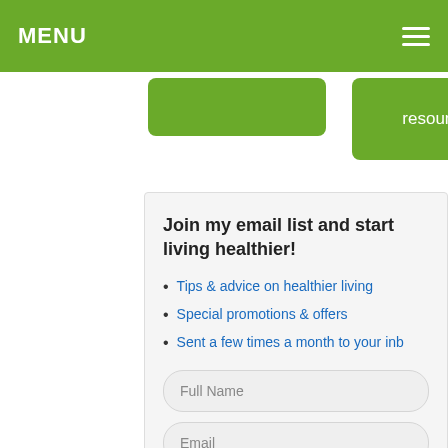MENU
resources.
Join my email list and start living healthier!
Tips & advice on healthier living
Special promotions & offers
Sent a few times a month to your inbox
Full Name
Email
Join now!
We respect your privacy...